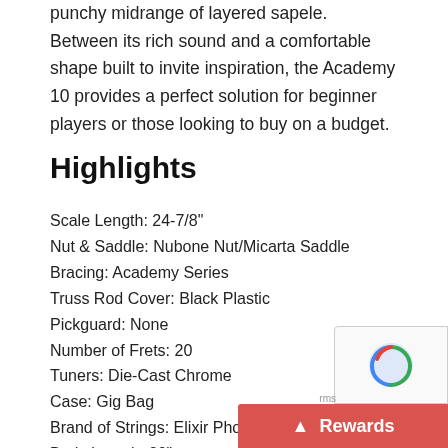punchy midrange of layered sapele. Between its rich sound and a comfortable shape built to invite inspiration, the Academy 10 provides a perfect solution for beginner players or those looking to buy on a budget.
Highlights
Scale Length: 24-7/8"
Nut & Saddle: Nubone Nut/Micarta Saddle
Bracing: Academy Series
Truss Rod Cover: Black Plastic
Pickguard: None
Number of Frets: 20
Tuners: Die-Cast Chrome
Case: Gig Bag
Brand of Strings: Elixir Phosphor Bronze Light
Body Length: 20"
Body Width: 16"